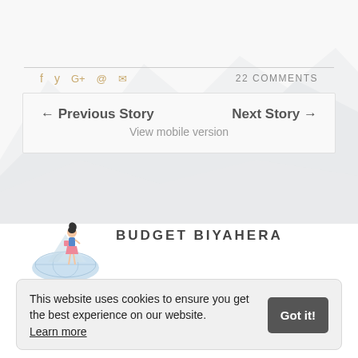[Figure (illustration): Mountain range silhouette background in light gray/white tones]
f  y  G+  @  ✉    22 COMMENTS
← Previous Story    Next Story →
View mobile version
[Figure (illustration): Budget Biyahera blog logo: cartoon girl with suitcase on globe with mountains]
BUDGET BIYAHERA
This website uses cookies to ensure you get the best experience on our website. Learn more   Got it!